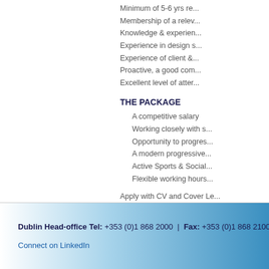Minimum of 5-6 yrs re...
Membership of a relev...
Knowledge & experien...
Experience in design s...
Experience of client &...
Proactive, a good com...
Excellent level of atter...
THE PACKAGE
A competitive salary
Working closely with s...
Opportunity to progres...
A modern progressive...
Active Sports & Social...
Flexible working hours...
Apply with CV and Cover Le...
Dublin Head-office Tel: +353 (0)1 868 2000 | Fax: +353 (0)1 868 2100 | Email... Connect on LinkedIn